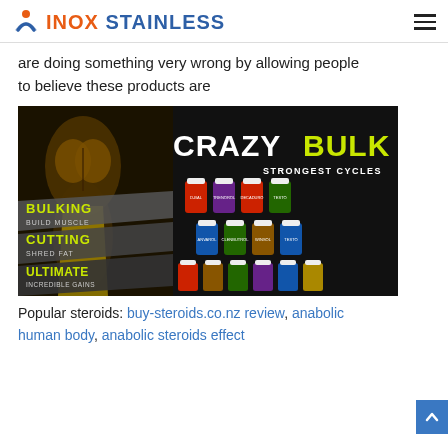INOX STAINLESS
are doing something very wrong by allowing people to believe these products are
[Figure (photo): CrazyBulk advertisement image showing supplement bottles categorized by Bulking (Build Muscle), Cutting (Shred Fat), and Ultimate (Incredible Gains) with text 'Strongest Cycles']
Popular steroids: buy-steroids.co.nz review, anabolic human body, anabolic steroids effect